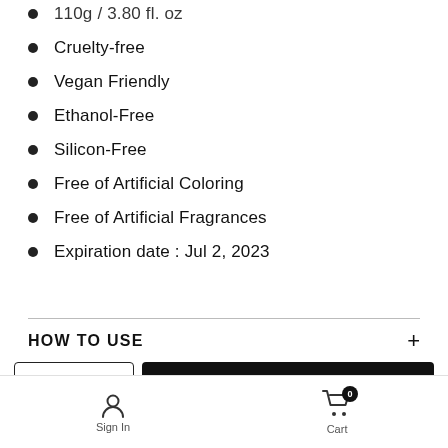110g / 3.80 fl. oz
Cruelty-free
Vegan Friendly
Ethanol-Free
Silicon-Free
Free of Artificial Coloring
Free of Artificial Fragrances
Expiration date : Jul 2, 2023
HOW TO USE
ADD TO CART
Sign In  Cart